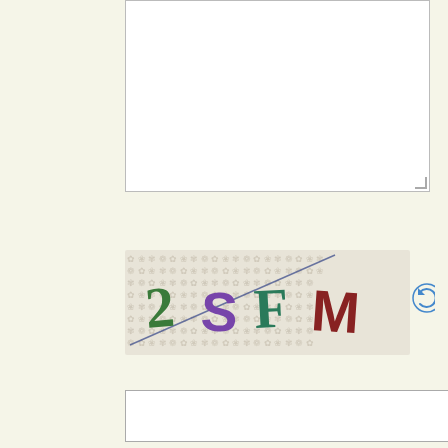[Figure (screenshot): White textarea input box with resize handle in bottom-right corner]
[Figure (screenshot): CAPTCHA image showing colorful letters '2SFM' on a decorative floral background with a refresh icon to the right]
[Figure (screenshot): Text input field for CAPTCHA code entry with a required asterisk]
CAPTCHA Code
[Figure (screenshot): Submit Comment button in teal/blue color]
Show submenu